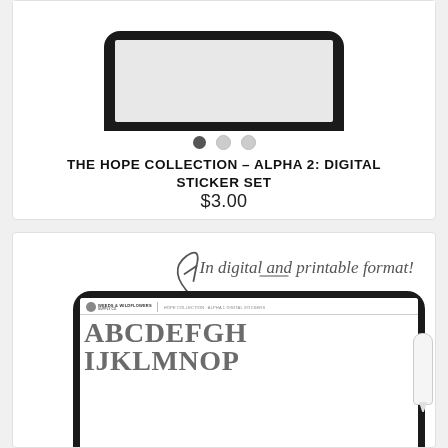[Figure (screenshot): Product listing card showing a tablet device from above with carousel dots, product title and price for The Hope Collection Alpha 2 Digital Sticker Set at $3.00]
THE HOPE COLLECTION – ALPHA 2: DIGITAL STICKER SET
$3.00
[Figure (photo): Tablet device showing alphabet sticker sheet with ABCDEFGH IJKLMNOP, with handwritten annotation arrow saying 'In digital and printable format!' and an Apple Pencil]